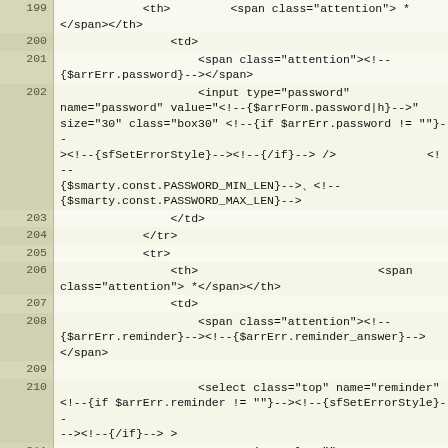[Figure (screenshot): Code editor view showing HTML template code with line numbers 199-215, including form elements with Smarty template syntax for password and reminder fields.]